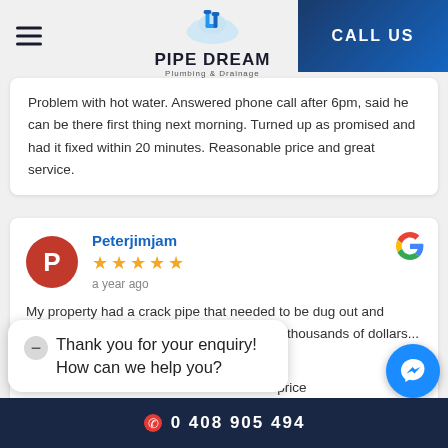[Figure (logo): Pipe Dream Plumbing & Drainage logo with hamburger menu and CALL US button]
Problem with hot water. Answered phone call after 6pm, said he can be there first thing next morning. Turned up as promised and had it fixed within 20 minutes. Reasonable price and great service.
Peterjimjam
★★★★★
a year ago
My property had a crack pipe that needed to be dug out and replaced. Two companies quoted me in the thousands of dollars... found Bre... price...
Thank you for your enquiry! How can we help you?
0 400 905 494